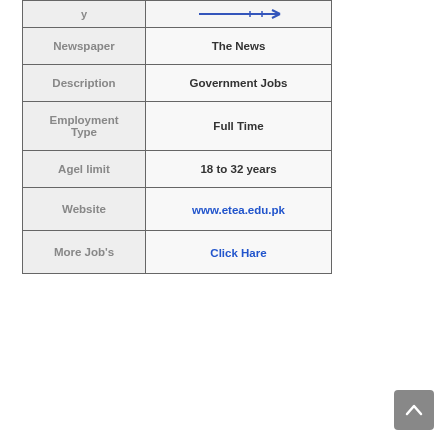| Field | Value |
| --- | --- |
| Newspaper | The News |
| Description | Government Jobs |
| Employment Type | Full Time |
| Agel limit | 18 to 32 years |
| Website | www.etea.edu.pk |
| More Job's | Click Hare |